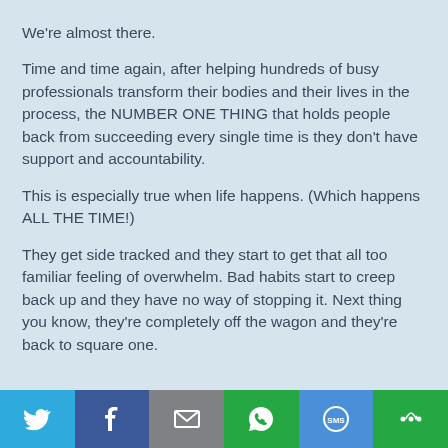We're almost there.
Time and time again, after helping hundreds of busy professionals transform their bodies and their lives in the process, the NUMBER ONE THING that holds people back from succeeding every single time is they don't have support and accountability.
This is especially true when life happens. (Which happens ALL THE TIME!)
They get side tracked and they start to get that all too familiar feeling of overwhelm. Bad habits start to creep back up and they have no way of stopping it. Next thing you know, they're completely off the wagon and they're back to square one.
[Figure (infographic): Social sharing bar with icons for Twitter, Facebook, Email, WhatsApp, SMS, and More]